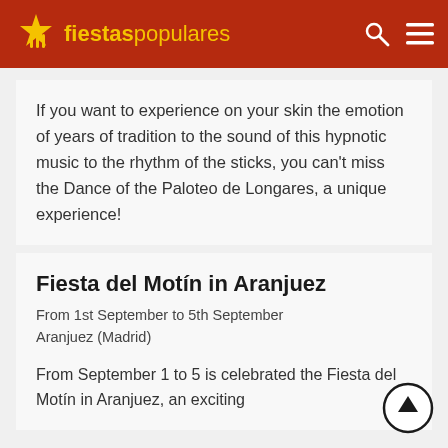fiestaspopulares
If you want to experience on your skin the emotion of years of tradition to the sound of this hypnotic music to the rhythm of the sticks, you can't miss the Dance of the Paloteo de Longares, a unique experience!
Fiesta del Motín in Aranjuez
From 1st September to 5th September
Aranjuez (Madrid)
From September 1 to 5 is celebrated the Fiesta del Motín in Aranjuez, an exciting